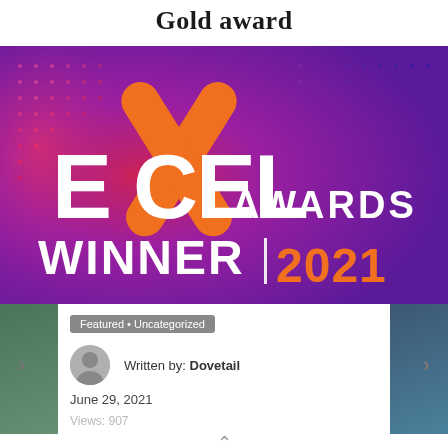Gold award
[Figure (illustration): Excel Awards Winner 2021 banner with purple/magenta gradient background, large orange X letter, white text reading EXCEL AWARDS WINNER | 2021]
Featured • Uncategorized
Written by: Dovetail
June 29, 2021
Views: 907